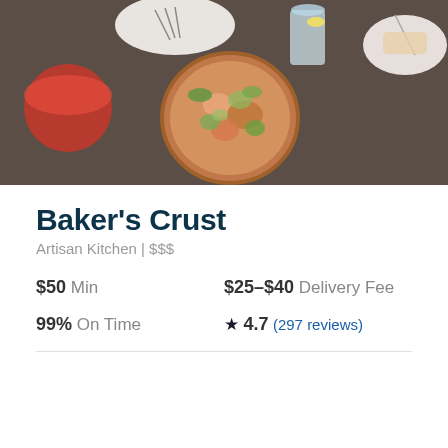[Figure (photo): Food photo showing pizza with toppings, a red drink, water glass with lemon, and dishes on a dark stone table surface viewed from above.]
Baker's Crust
Artisan Kitchen | $$$
$50 Min   $25–$40 Delivery Fee
99% On Time   ★ 4.7 (297 reviews)